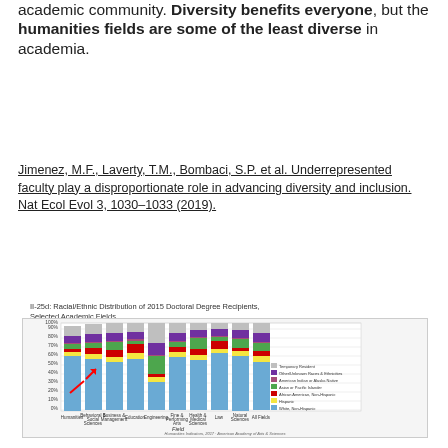academic community. Diversity benefits everyone, but the humanities fields are some of the least diverse in academia.
Jimenez, M.F., Laverty, T.M., Bombaci, S.P. et al. Underrepresented faculty play a disproportionate role in advancing diversity and inclusion. Nat Ecol Evol 3, 1030–1033 (2019).
II-25d: Racial/Ethnic Distribution of 2015 Doctoral Degree Recipients, Selected Academic Fields
[Figure (stacked-bar-chart): II-25d: Racial/Ethnic Distribution of 2015 Doctoral Degree Recipients, Selected Academic Fields]
Humanities Indicators, 2017 · American Academy of Arts & Sciences